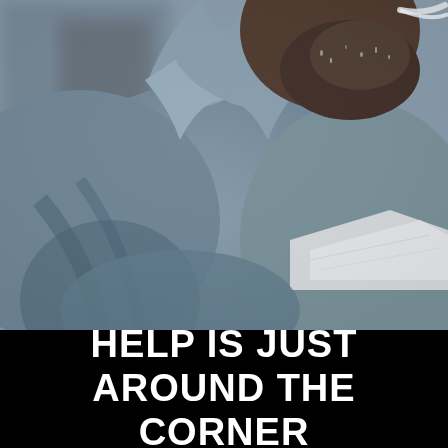[Figure (photo): Close-up photo of a smiling Black man with a grey beard, wearing a grey button-up shirt, holding white papers. The upper portion of his torso, shoulder, and part of his face (chin and smile) are visible. Background is blurred.]
HELP IS JUST AROUND THE CORNER